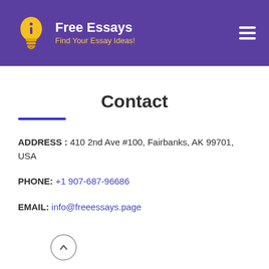Free Essays — Find Your Essay Ideas!
Contact
ADDRESS : 410 2nd Ave #100, Fairbanks, AK 99701, USA
PHONE: +1 907-687-96686
EMAIL: info@freeessays.page